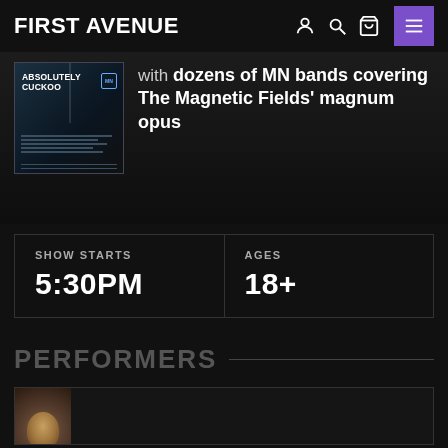FIRST AVENUE
[Figure (screenshot): Absolutely Cuckoo event poster thumbnail — dark blue/black background with text]
with dozens of MN bands covering The Magnetic Fields' magnum opus
| SHOW STARTS | AGES |
| --- | --- |
| 5:30PM | 18+ |
PERFORMERS
[Figure (photo): Partial performer photo, circular crop, partially visible at bottom of page]